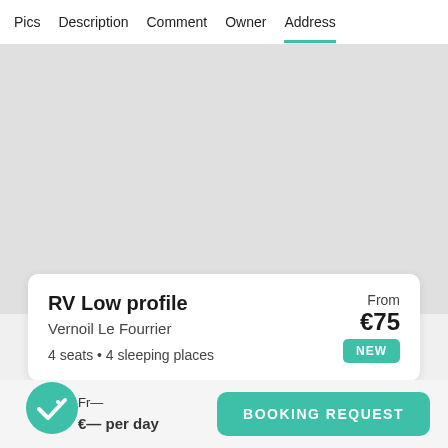Pics  Description  Comment  Owner  Address
[Figure (map): Gray map area placeholder]
RV Low profile
Vernoil Le Fourrier
4 seats • 4 sleeping places
From €75
NEW
From €— per day
BOOKING REQUEST